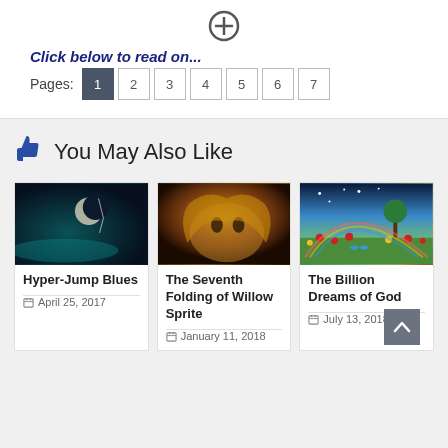[Figure (illustration): Circle plus icon at top center]
Click below to read on...
Pages: 1 2 3 4 5 6 7
You May Also Like
[Figure (photo): Dark sci-fi scene with crescent moon and teal mist]
Hyper-Jump Blues
April 25, 2017
[Figure (photo): Fantasy illustration of a woman lying down with golden hair]
The Seventh Folding of Willow Sprite
January 11, 2018
[Figure (photo): Fantasy landscape with flowers, green meadow, rainbow and stars]
The Billion Dreams of God
July 13, 2018